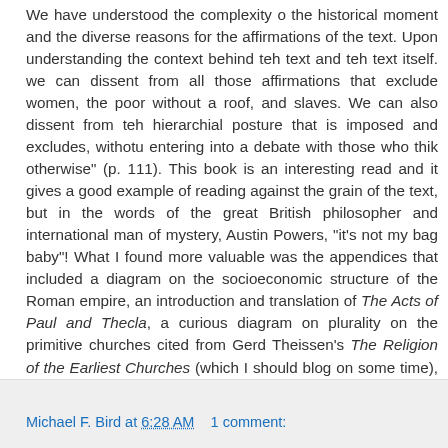We have understood the complexity o the historical moment and the diverse reasons for the affirmations of the text. Upon understanding the context behind teh text and teh text itself. we can dissent from all those affirmations that exclude women, the poor without a roof, and slaves. We can also dissent from teh hierarchial posture that is imposed and excludes, withotu entering into a debate with those who thik otherwise" (p. 111). This book is an interesting read and it gives a good example of reading against the grain of the text, but in the words of the great British philosopher and international man of mystery, Austin Powers, "it's not my bag baby"! What I found more valuable was the appendices that included a diagram on the socioeconomic structure of the Roman empire, an introduction and translation of The Acts of Paul and Thecla, a curious diagram on plurality on the primitive churches cited from Gerd Theissen's The Religion of the Earliest Churches (which I should blog on some time), and a translation of 1 Timothy.
Michael F. Bird at 6:28 AM    1 comment: